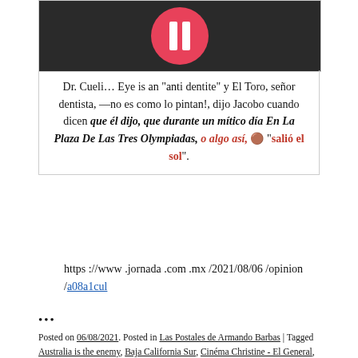[Figure (photo): Dark background image with a red circle containing a white double-bar symbol, resembling a logo or watermark overlay on a photo.]
Dr. Cueli… Eye is an “anti dentite” y El Toro, señor dentista, —no es como lo pintan!, dijo Jacobo cuando dicen que él dijo, que durante un mítico día En La Plaza De Las Tres Olympiadas, o algo así, 🟤 “salió el sol”.
https ://www .jornada .com .mx /2021/08/06 /opinion /a08a1cul
...
Posted on 06/08/2021. Posted in Las Postales de Armando Barbas | Tagged Australia is the enemy, Baja California Sur, Cinéma Christine - El General, Daddy Yankee - Gasolina, José Cueli, La